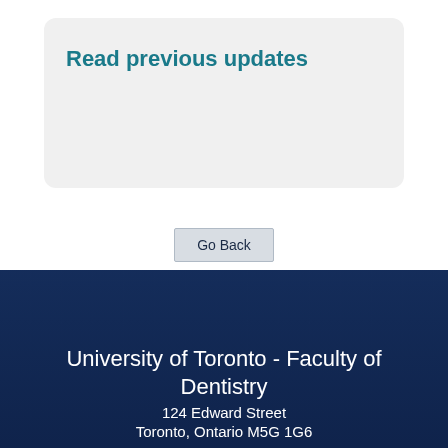Read previous updates
Go Back
[Figure (photo): Building exterior of University of Toronto Faculty of Dentistry, shown with dark blue overlay]
University of Toronto - Faculty of Dentistry
124 Edward Street
Toronto, Ontario M5G 1G6